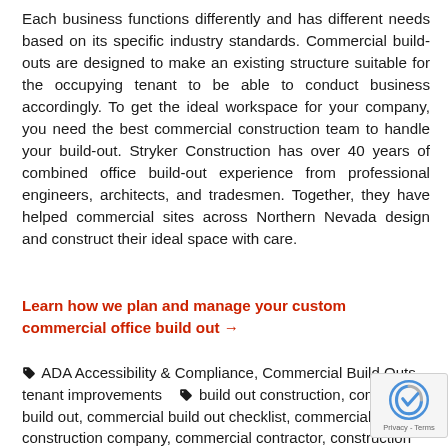Each business functions differently and has different needs based on its specific industry standards. Commercial build-outs are designed to make an existing structure suitable for the occupying tenant to be able to conduct business accordingly. To get the ideal workspace for your company, you need the best commercial construction team to handle your build-out. Stryker Construction has over 40 years of combined office build-out experience from professional engineers, architects, and tradesmen. Together, they have helped commercial sites across Northern Nevada design and construct their ideal space with care.
Learn how we plan and manage your custom commercial office build out →
ADA Accessibility & Compliance, Commercial Build Outs, tenant improvements  build out construction, commercial build out, commercial build out checklist, commercial construction company, commercial contractor, construction out, construction reno, office build out, office remodel, office renovations, stryker construction reno, tenant improvements